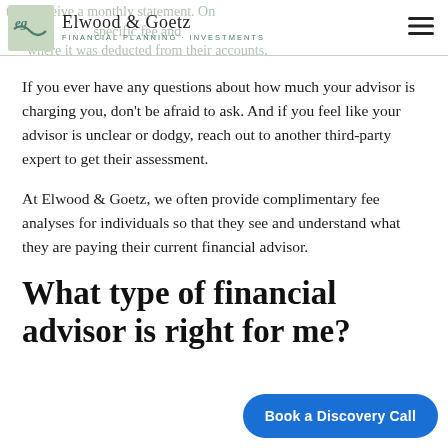Elwood & Goetz — FINANCIAL PLANNING + INVESTMENTS
If you ever have any questions about how much your advisor is charging you, don't be afraid to ask. And if you feel like your advisor is unclear or dodgy, reach out to another third-party expert to get their assessment.
At Elwood & Goetz, we often provide complimentary fee analyses for individuals so that they see and understand what they are paying their current financial advisor.
What type of financial advisor is right for me?